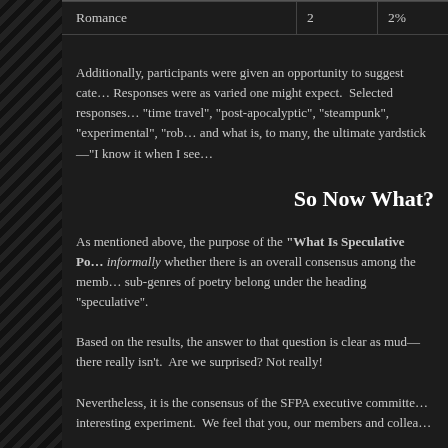| Romance | 2 | 2% |
Additionally, participants were given an opportunity to suggest categories not listed. Responses were as varied one might expect. Selected responses included: "time travel", "post-apocalyptic", "steampunk", "experimental", "rob... and what is, to many, the ultimate yardstick—"I know it when I see...
So Now What?
As mentioned above, the purpose of the "What Is Speculative Po... informally whether there is an overall consensus among the memb... sub-genres of poetry belong under the heading "speculative".
Based on the results, the answer to that question is clear as mud— there really isn't. Are we surprised? Not really!
Nevertheless, it is the consensus of the SFPA executive committe... interesting experiment. We feel that you, our members and collea...